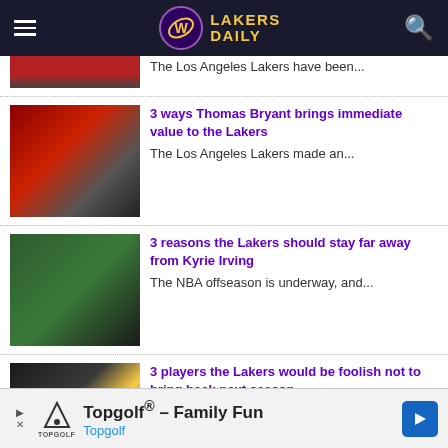Lakers Daily
[Figure (photo): Partial basketball photo, top of page]
The Los Angeles Lakers have been...
[Figure (photo): Thomas Bryant dunking]
3 ways Thomas Bryant brings immediate value to the Lakers
The Los Angeles Lakers made an...
[Figure (photo): Player lying on the court]
3 reasons the Lakers should stay far away from Kyrie Irving
The NBA offseason is underway, and...
[Figure (photo): Lakers player in yellow jersey]
3 players the Lakers would be foolish not to bring back next season
The 2021-22 season did not go...
Topgolf® - Family Fun Topgolf